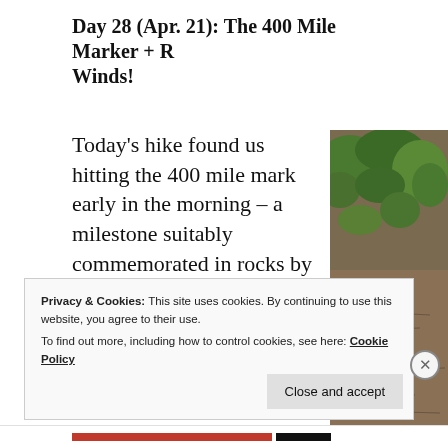Day 28 (Apr. 21): The 400 Mile Marker + R... Winds!
Today's hike found us hitting the 400 mile mark early in the morning – a milestone suitably commemorated in rocks by the side of the trail. I hiked alone, but really enjoyed knowing that trail friends were relatively close, either ahead or behind me.
[Figure (photo): Outdoor photo showing green vegetation and brown dirt/trail ground, partially cropped on the right side of the page.]
Privacy & Cookies: This site uses cookies. By continuing to use this website, you agree to their use.
To find out more, including how to control cookies, see here: Cookie Policy